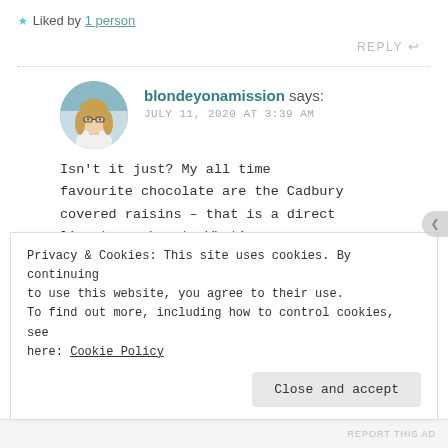★ Liked by 1 person
REPLY ↩
blondeyonamission says:
JULY 11, 2020 AT 3:39 AM
Isn't it just? My all time favourite chocolate are the Cadbury covered raisins – that is a direct line to my heart. What's your
Privacy & Cookies: This site uses cookies. By continuing to use this website, you agree to their use. To find out more, including how to control cookies, see here: Cookie Policy
Close and accept